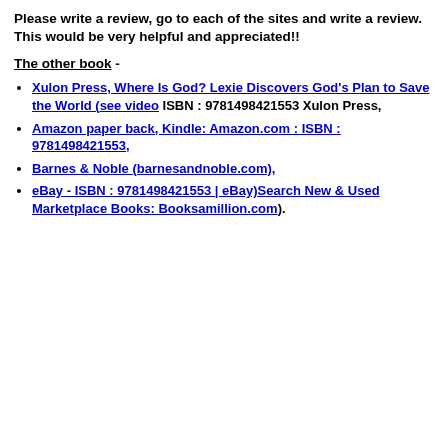Please write a review, go to each of the sites and write a review. This would be very helpful and appreciated!!
The other book -
Xulon Press, Where Is God? Lexie Discovers God's Plan to Save the World (see video ISBN : 9781498421553 Xulon Press,
Amazon paper back, Kindle: Amazon.com : ISBN : 9781498421553,
Barnes & Noble (barnesandnoble.com),
eBay - ISBN : 9781498421553 | eBay)Search New & Used Marketplace Books: Booksamillion.com).